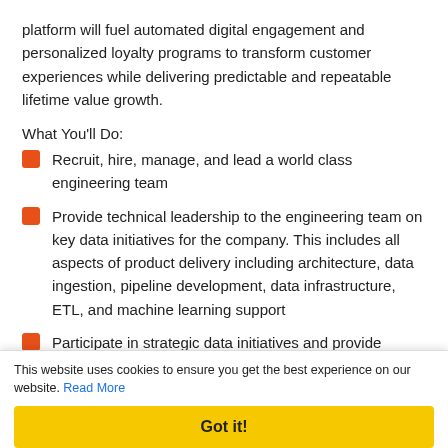platform will fuel automated digital engagement and personalized loyalty programs to transform customer experiences while delivering predictable and repeatable lifetime value growth.
What You’ll Do:
Recruit, hire, manage, and lead a world class engineering team
Provide technical leadership to the engineering team on key data initiatives for the company. This includes all aspects of product delivery including architecture, data ingestion, pipeline development, data infrastructure, ETL, and machine learning support
Participate in strategic data initiatives and provide guidance for the short-term and long-term goals of the team
Ensure data quality and compliance with development, architecture, reporting, and regulatory standards throughout entire data pipeline
Develop and continually refine data engineering best practices